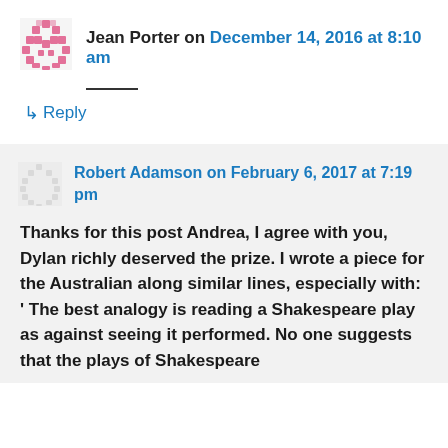Jean Porter on December 14, 2016 at 8:10 am
↳ Reply
Robert Adamson on February 6, 2017 at 7:19 pm
Thanks for this post Andrea, I agree with you, Dylan richly deserved the prize. I wrote a piece for the Australian along similar lines, especially with: ' The best analogy is reading a Shakespeare play as against seeing it performed. No one suggests that the plays of Shakespeare